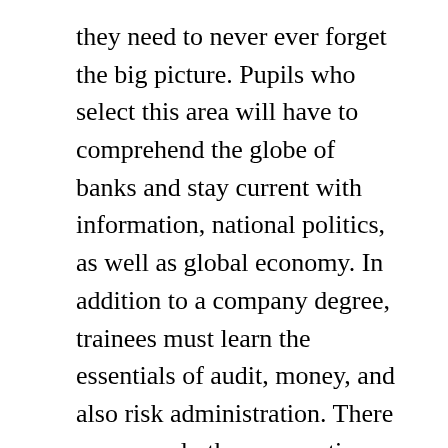they need to never ever forget the big picture. Pupils who select this area will have to comprehend the globe of banks and stay current with information, national politics, as well as global economy. In addition to a company degree, trainees must learn the essentials of audit, money, and also risk administration. There are several other occupation options in finance, consisting of financial as well as financial investment.
Several students go after a degree in money since it unlocks to a variety of business occupations. Generally, these graduates find employment in investment firms, financial institutions, and also hedge funds. It is